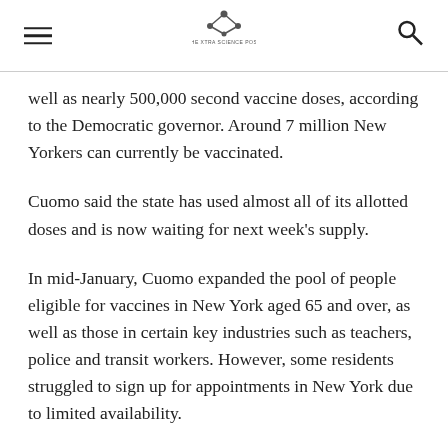[hamburger menu] [The New York Times logo] [search icon]
well as nearly 500,000 second vaccine doses, according to the Democratic governor. Around 7 million New Yorkers can currently be vaccinated.
Cuomo said the state has used almost all of its allotted doses and is now waiting for next week’s supply.
In mid-January, Cuomo expanded the pool of people eligible for vaccines in New York aged 65 and over, as well as those in certain key industries such as teachers, police and transit workers. However, some residents struggled to sign up for appointments in New York due to limited availability.
“We don’t have an offer that can reach everyone, we understand that,” said Cuomo. “So the prioritization is to